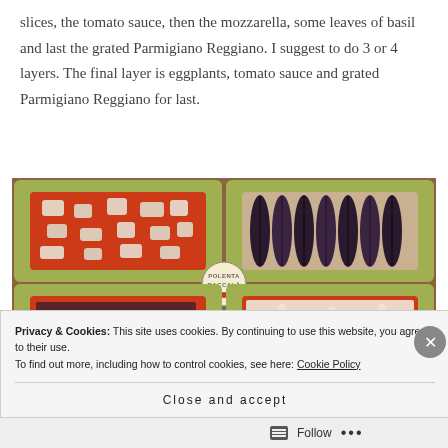slices, the tomato sauce, then the mozzarella, some leaves of basil and last the grated Parmigiano Reggiano. I suggest to do 3 or 4 layers. The final layer is eggplants, tomato sauce and grated Parmigiano Reggiano for last.
[Figure (photo): Four photos showing stages of layering eggplant parmigiana in a green baking dish. Top-left: layer with mozzarella pieces on tomato sauce. Top-right: raw eggplant slices arranged in dish. Bottom-left: partially assembled layers with tomato sauce. Bottom-right: final layer with grated Parmigiano Reggiano on top. A small circular watermark reads 'POLENTA BACCALA'.]
Privacy & Cookies: This site uses cookies. By continuing to use this website, you agree to their use.
To find out more, including how to control cookies, see here: Cookie Policy
Close and accept
Follow